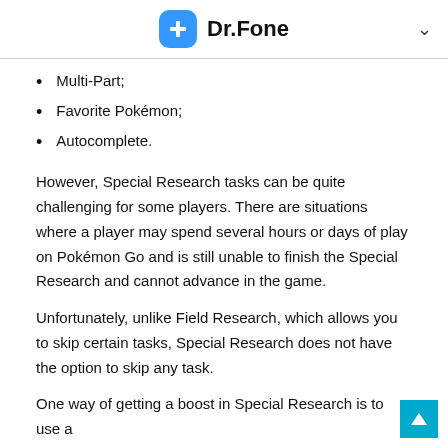Dr.Fone
Multi-Part;
Favorite Pokémon;
Autocomplete.
However, Special Research tasks can be quite challenging for some players. There are situations where a player may spend several hours or days of play on Pokémon Go and is still unable to finish the Special Research and cannot advance in the game.
Unfortunately, unlike Field Research, which allows you to skip certain tasks, Special Research does not have the option to skip any task.
One way of getting a boost in Special Research is to use a